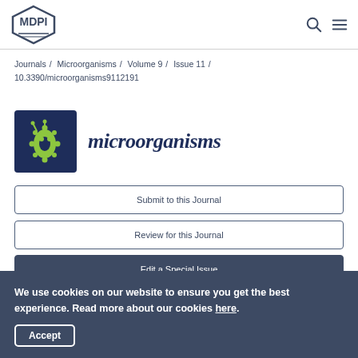MDPI
Journals / Microorganisms / Volume 9 / Issue 11 / 10.3390/microorganisms9112191
[Figure (logo): Microorganisms journal logo — dark navy square with green gear/microbe icon]
microorganisms
Submit to this Journal
Review for this Journal
Edit a Special Issue
We use cookies on our website to ensure you get the best experience. Read more about our cookies here.
Accept